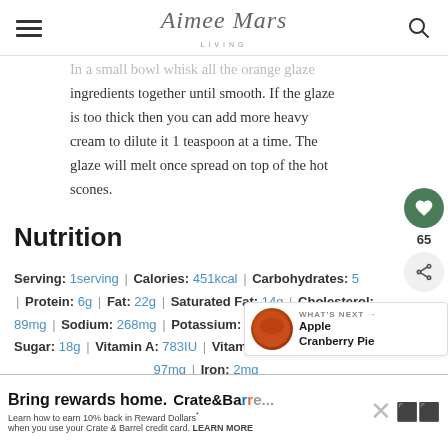Aimee Mars Living
In a small bowl whisk all the orange glaze ingredients together until smooth. If the glaze is too thick then you can add more heavy cream to dilute it 1 teaspoon at a time. The glaze will melt once spread on top of the hot scones.
Nutrition
Serving: 1serving | Calories: 451kcal | Carbohydrates: 5 | Protein: 6g | Fat: 22g | Saturated Fat: 14g | Cholesterol: 89mg | Sodium: 268mg | Potassium: 243mg | Sugar: 18g | Vitamin A: 783IU | Vitamin C: 4mg | Calcium: 97mg | Iron: 2mg
[Figure (other): Apple Cranberry Pie thumbnail with WHAT'S NEXT label]
Bring rewards home. Crate & Barrel. Learn how to earn 10% back in Reward Dollars when you use your Crate & Barrel credit card. LEARN MORE